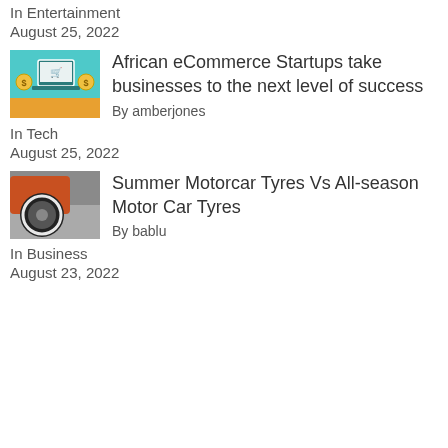In Entertainment
August 25, 2022
[Figure (illustration): eCommerce themed graphic with teal background, shopping icons]
African eCommerce Startups take businesses to the next level of success
By amberjones
In Tech
August 25, 2022
[Figure (photo): Orange car wheel/tyre close-up photo]
Summer Motorcar Tyres Vs All-season Motor Car Tyres
By bablu
In Business
August 23, 2022